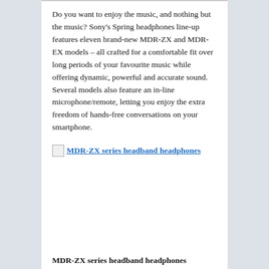Do you want to enjoy the music, and nothing but the music? Sony's Spring headphones line-up features eleven brand-new MDR-ZX and MDR-EX models – all crafted for a comfortable fit over long periods of your favourite music while offering dynamic, powerful and accurate sound. Several models also feature an in-line microphone/remote, letting you enjoy the extra freedom of hands-free conversations on your smartphone.
[Figure (photo): Broken image placeholder for MDR-ZX series headband headphones with link text]
MDR-ZX series headband headphones